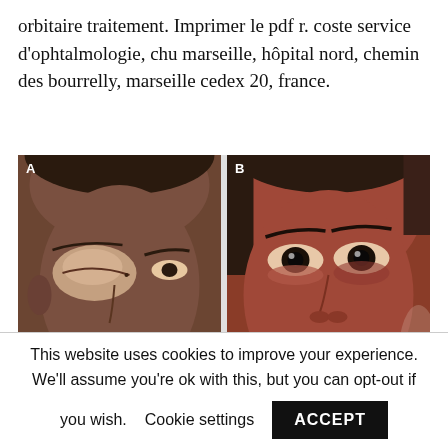orbitaire traitement. Imprimer le pdf r. coste service d'ophtalmologie, chu marseille, hôpital nord, chemin des bourrelly, marseille cedex 20, france.
[Figure (photo): Two clinical photographs side by side. Panel A shows a patient with dark skin and a swollen, nearly closed left eye (periorbital edema). Panel B shows the same or a similar patient with both eyes open, showing improvement, with a reddish hue.]
This website uses cookies to improve your experience. We'll assume you're ok with this, but you can opt-out if you wish. Cookie settings ACCEPT